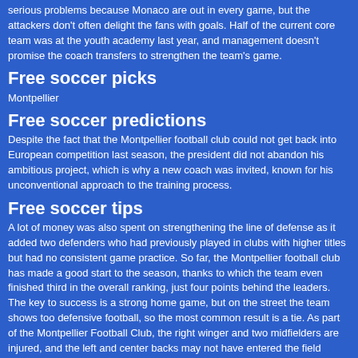serious problems because Monaco are out in every game, but the attackers don't often delight the fans with goals. Half of the current core team was at the youth academy last year, and management doesn't promise the coach transfers to strengthen the team's game.
Free soccer picks
Montpellier
Free soccer predictions
Despite the fact that the Montpellier football club could not get back into European competition last season, the president did not abandon his ambitious project, which is why a new coach was invited, known for his unconventional approach to the training process.
Free soccer tips
A lot of money was also spent on strengthening the line of defense as it added two defenders who had previously played in clubs with higher titles but had no consistent game practice. So far, the Montpellier football club has made a good start to the season, thanks to which the team even finished third in the overall ranking, just four points behind the leaders. The key to success is a strong home game, but on the street the team shows too defensive football, so the most common result is a tie. As part of the Montpellier Football Club, the right winger and two midfielders are injured, and the left and center backs may not have entered the field because they missed the last round due to minor injuries.
Free soccer predictions
Statistics and personal meetings